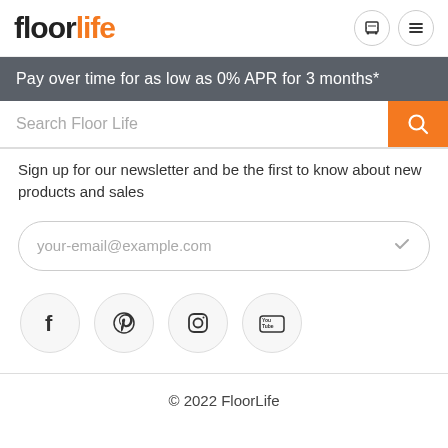floorlife
Pay over time for as low as 0% APR for 3 months*
Search Floor Life
Sign up for our newsletter and be the first to know about new products and sales
your-email@example.com
[Figure (illustration): Social media icons: Facebook, Pinterest, Instagram, YouTube]
© 2022 FloorLife